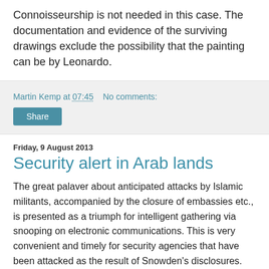Connoisseurship is not needed in this case. The documentation and evidence of the surviving drawings exclude the possibility that the painting can be by Leonardo.
Martin Kemp at 07:45    No comments:
Share
Friday, 9 August 2013
Security alert in Arab lands
The great palaver about anticipated attacks by Islamic militants, accompanied by the closure of embassies etc., is presented as a triumph for intelligent gathering via snooping on electronic communications. This is very convenient and timely for security agencies that have been attacked as the result of Snowden's disclosures. Let's set aside extreme scepticism and accept that the alert is not a contrived false alarm, we can still wonder if the trumpeting of the intelligence